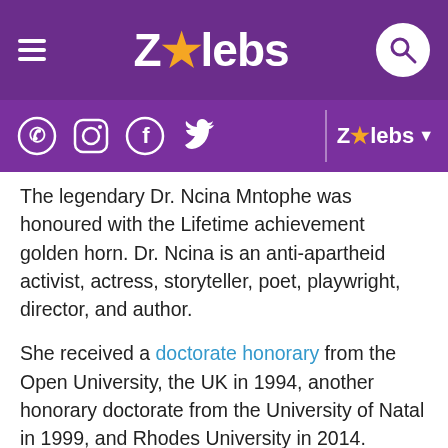ZAlebs navigation header with hamburger menu, ZAlebs logo, and search button
Social media icons bar: WhatsApp, Instagram, Facebook, Twitter | ZAlebs dropdown
The legendary Dr. Ncina Mntophe was honoured with the Lifetime achievement golden horn. Dr. Ncina is an anti-apartheid activist, actress, storyteller, poet, playwright, director, and author.
She received a doctorate honorary from the Open University, the UK in 1994, another honorary doctorate from the University of Natal in 1999, and Rhodes University in 2014.
She has won plenty of awards including the Joseph Jefferson Award for Best Actress (Chicago) for Have you seen Zandile? Sony Award for Radio Drama from BBC Radio Africa for Have you seen Zandile? and In 2016 she